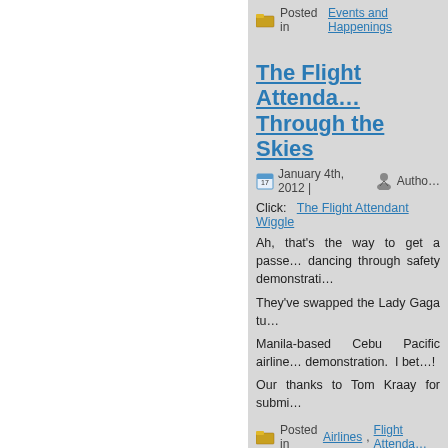Posted in Events and Happenings
The Flight Attendant Wiggle Through the Skies
January 4th, 2012 | Author
Click: The Flight Attendant Wiggle
Ah, that's the way to get a passenger's attention! dancing through safety demonstrations
They've swapped the Lady Gaga tu
Manila-based Cebu Pacific airline demonstration. I bet…!
Our thanks to Tom Kraay for submi
Posted in Airlines, Flight Attenda
A Trip to Antalya
December 18th, 2011 | Au
Antalya is a resort city on the Turkish mountains. Many of the buildings i submitting the photos seen here fro